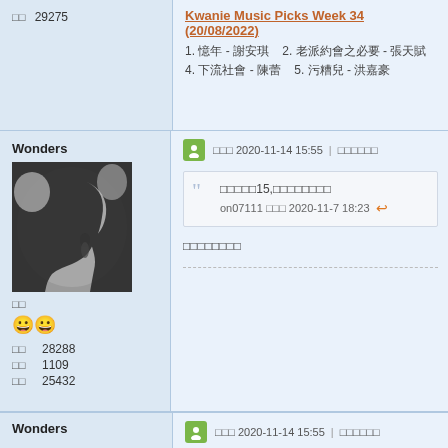□□  29275
Kwanie Music Picks Week 34 (20/08/2022)
1. 憶年 - 謝安琪  2. 老派約會之必要 - 張天賦
4. 下流社會 - 陳蕾  5. 污糟兒 - 洪嘉豪
Wonders
[Figure (photo): Black and white profile photo of a woman with earrings]
□□
😀😀
□□  28288
□□  1109
□□  25432
□□□ 2020-11-14 15:55 | □□□□□□
□□□□□15,□□□□□□□□
on07111 □□□ 2020-11-7 18:23
□□□□□□□□
Wonders
□□□ 2020-11-14 15:55 | □□□□□□